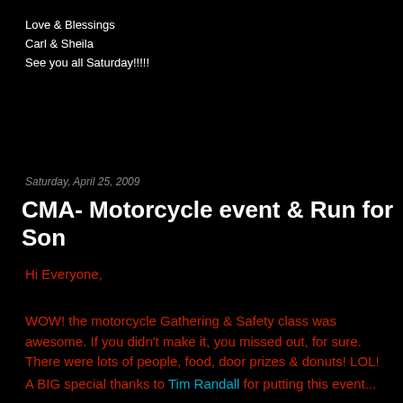Love & Blessings
Carl & Sheila
See you all Saturday!!!!!
Saturday, April 25, 2009
CMA- Motorcycle event & Run for Son
Hi Everyone,
WOW! the motorcycle Gathering & Safety class was awesome. If you didn't make it, you missed out, for sure. There were lots of people, food, door prizes & donuts! LOL!
A BIG special thanks to Tim Randall for putting this event...